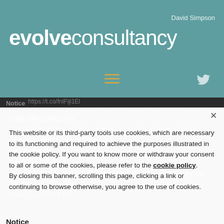[Figure (screenshot): Evolve Consultancy website header with teal background, logo reading 'evolveconsultancy', hamburger menu icon in gold, Twitter bird icon, and author name 'David Simpson']
@TheRevitKid @Studio_Bim @allenangle By all means go off piste with categories. But please don't just stick stuff in the vanilla Generic Model category; make sub-categories. Be consistent. Document them. And fill in the IfcExportAs parameter correctly. (Tutorial below courtesy of @EvolveBIM) https://t.co/fnlFijl1El
Notice
This website or its third-party tools use cookies, which are necessary to its functioning and required to achieve the purposes illustrated in the cookie policy. If you want to know more or withdraw your consent to all or some of the cookies, please refer to the cookie policy. By closing this banner, scrolling this page, clicking a link or continuing to browse otherwise, you agree to the use of cookies.